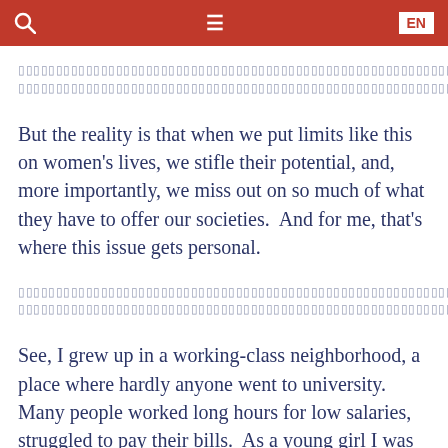🔍  ☰  EN
[blurred text – two lines of redacted/obscured content]
But the reality is that when we put limits like this on women's lives, we stifle their potential, and, more importantly, we miss out on so much of what they have to offer our societies.  And for me, that's where this issue gets personal.
[blurred text – two lines of redacted/obscured content]
See, I grew up in a working-class neighborhood, a place where hardly anyone went to university.  Many people worked long hours for low salaries, struggled to pay their bills.  As a young girl I was...